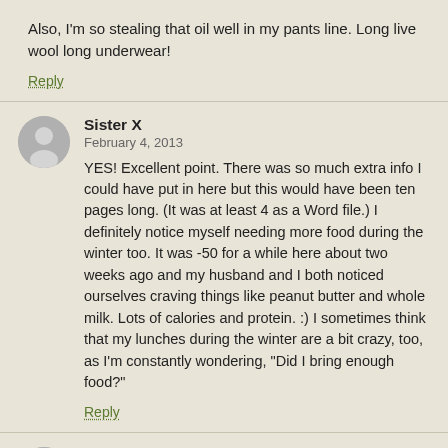Also, I'm so stealing that oil well in my pants line. Long live wool long underwear!
Reply
[Figure (illustration): Gray circular avatar with generic person silhouette]
Sister X
February 4, 2013
YES! Excellent point. There was so much extra info I could have put in here but this would have been ten pages long. (It was at least 4 as a Word file.) I definitely notice myself needing more food during the winter too. It was -50 for a while here about two weeks ago and my husband and I both noticed ourselves craving things like peanut butter and whole milk. Lots of calories and protein. :) I sometimes think that my lunches during the winter are a bit crazy, too, as I'm constantly wondering, "Did I bring enough food?"
Reply
[Figure (illustration): Gray circular avatar with generic person silhouette]
leftbucket
February 3, 2013
A continuation on the last point, which the has some...